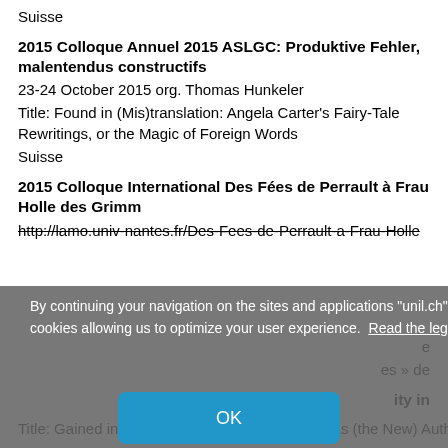Suisse
2015 Colloque Annuel 2015 ASLGC: Produktive Fehler, malentendus constructifs
23-24 October 2015 org. Thomas Hunkeler
Title: Found in (Mis)translation: Angela Carter's Fairy-Tale Rewritings, or the Magic of Foreign Words
Suisse
2015 Colloque International Des Fées de Perrault à Frau Holle des Grimm
http://lamo.univ-nantes.fr/Des-Fees-de-Perrault-a-Frau-Holle
[Figure (screenshot): Cookie consent overlay with text: 'By continuing your navigation on the sites and applications "unil.ch", you accept the use of cookies allowing us to optimize your user experience. Read the legal information' and an OK button.]
Title: Gained in (Cultural) Translation: Hybridity as (the New) Authenticity? (15 March 2014, Le Parc)